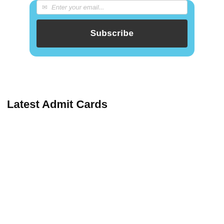[Figure (screenshot): Email subscription form with input field showing 'Enter your email...' placeholder and a dark Subscribe button, inside a light blue rounded box]
Latest Admit Cards
[Figure (screenshot): Green rounded box with InboxDollars SPECIFIC CODE ALERTS! heading, an InboxDollars banner ad (FREE $5 SIGNUP BONUS, GET PAID TO read emails, take surveys, search the web, JOIN FREE!), and an email input field]